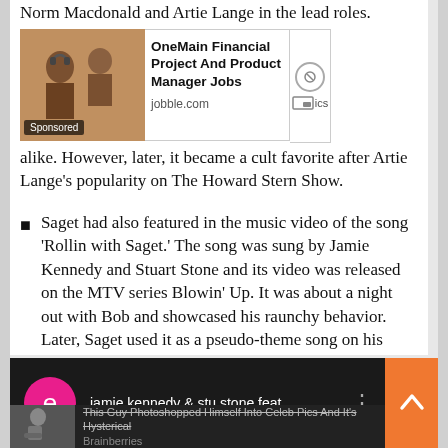Norm Macdonald and Artie Lange in the lead roles.
[Figure (screenshot): Advertisement banner for OneMain Financial Project And Product Manager Jobs on jobble.com with background photo of people working at computers. Labeled 'Sponsored'. Icons for mute and picture-in-picture on the right side.]
alike. However, later, it became a cult favorite after Artie Lange’s popularity on The Howard Stern Show.
Saget had also featured in the music video of the song ‘Rollin with Saget.’ The song was sung by Jamie Kennedy and Stuart Stone and its video was released on the MTV series Blowin’ Up. It was about a night out with Bob and showcased his raunchy behavior. Later, Saget used it as a pseudo-theme song on his stand-up tours and website.
[Figure (screenshot): YouTube music entry showing pink circle avatar with letter 'e', title 'jamie kennedy & stu stone feat ...' in white text on dark background, three-dot menu icon. Orange scroll-to-top button on right.]
[Figure (screenshot): Brainberries recommended content showing thumbnail of man sitting, with strikethrough text 'This Guy Photoshopped Himself Into Celeb Pics And It's Hysterical' and brand name 'Brainberries'.]